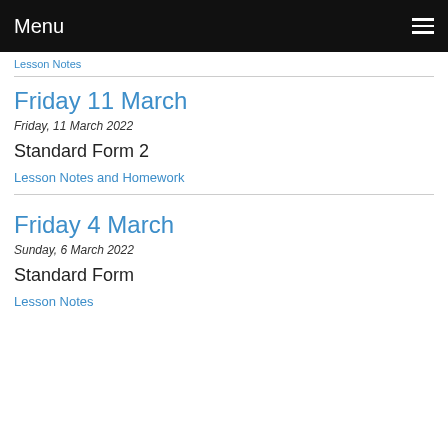Menu
Lesson Notes
Friday 11 March
Friday, 11 March 2022
Standard Form 2
Lesson Notes and Homework
Friday 4 March
Sunday, 6 March 2022
Standard Form
Lesson Notes